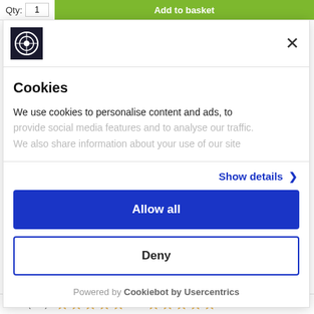Qty: 1  Add to basket
[Figure (logo): Small dark square logo with circular emblem]
Cookies
We use cookies to personalise content and ads, to provide social media features and to analyse our traffic. We also share information about your use of our site
Show details >
Allow all
Deny
Powered by Cookiebot by Usercentrics
(235)